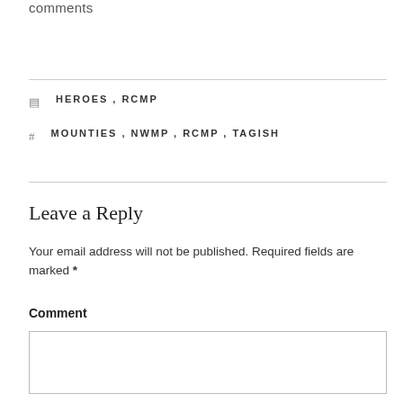comments
HEROES, RCMP
MOUNTIES, NWMP, RCMP, TAGISH
Leave a Reply
Your email address will not be published. Required fields are marked *
Comment